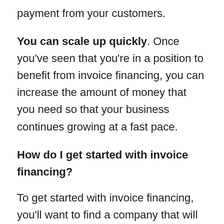payment from your customers.
You can scale up quickly. Once you've seen that you're in a position to benefit from invoice financing, you can increase the amount of money that you need so that your business continues growing at a fast pace.
How do I get started with invoice financing?
To get started with invoice financing, you'll want to find a company that will work with your specific business needs. For example, some companies might be able to handle a larger volume of invoices than others. This is something you'll want to ask